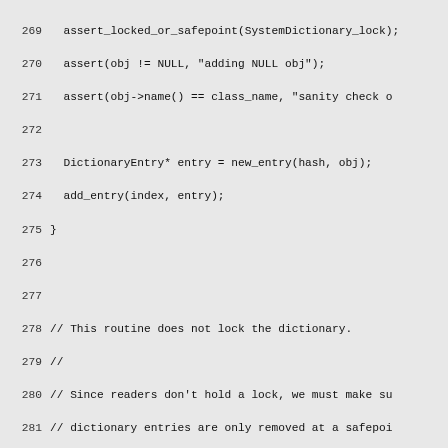Source code listing lines 269–298 showing C++ dictionary implementation